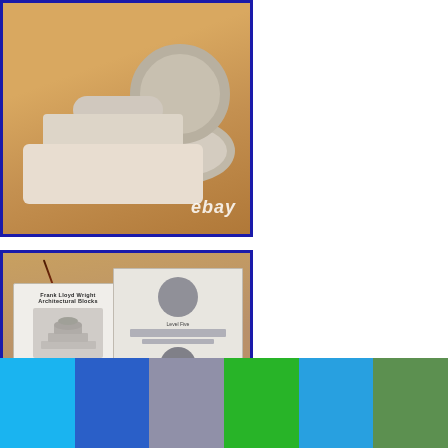[Figure (photo): Photo of stacked foam/wood architectural block pieces on a wooden surface, with an eBay watermark in the lower right corner. The pieces appear to be cylindrical and curved shapes in beige/white tones.]
[Figure (photo): Photo of a Frank Lloyd Wright Architectural Blocks 'Museum Building Block Set # 50-7301' instruction booklet opened to show block assembly levels (Level Five, Level Six, Level Seven), along with the cover booklet showing the museum building model. A red-handled pen is visible in the upper portion of the photo.]
[Figure (illustration): Color bar at the bottom of the page showing six color swatches: light blue, dark blue, gray, green, blue, and dark green.]